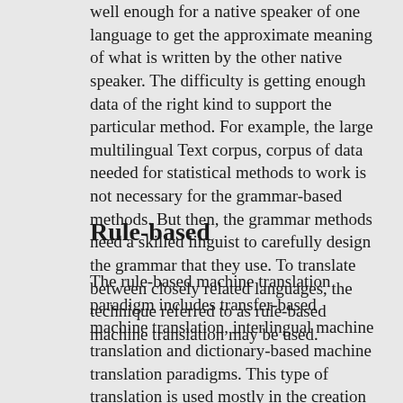well enough for a native speaker of one language to get the approximate meaning of what is written by the other native speaker. The difficulty is getting enough data of the right kind to support the particular method. For example, the large multilingual Text corpus, corpus of data needed for statistical methods to work is not necessary for the grammar-based methods. But then, the grammar methods need a skilled linguist to carefully design the grammar that they use. To translate between closely related languages, the technique referred to as rule-based machine translation may be used.
Rule-based
The rule-based machine translation paradigm includes transfer-based machine translation, interlingual machine translation and dictionary-based machine translation paradigms. This type of translation is used mostly in the creation of dictionaries and grammar programs. Unlike other methods, RBMT involves more information about the linguistics of the source and target languages, using the morphological and syntactic rules and semantic